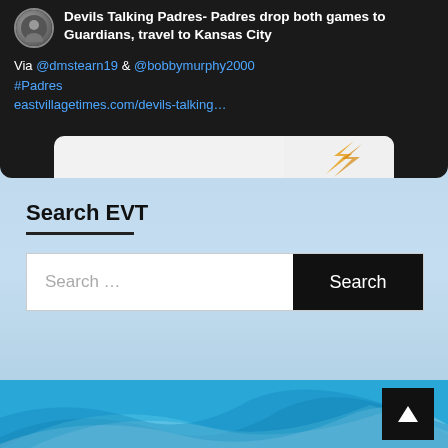[Figure (screenshot): A social media post (tweet) card on dark background showing: avatar icon, headline 'Devils Talking Padres- Padres drop both games to Guardians, travel to Kansas City', attribution 'Via @dmstearn19 & @bobbymurphy2000 #Padres eastvillagetimes.com/devils-talking...', with a partial article preview image at bottom]
Search EVT
Search ...
[Figure (screenshot): Footer area with blue swoosh graphic design and a black 'back to top' button with white upward arrow in bottom right corner]